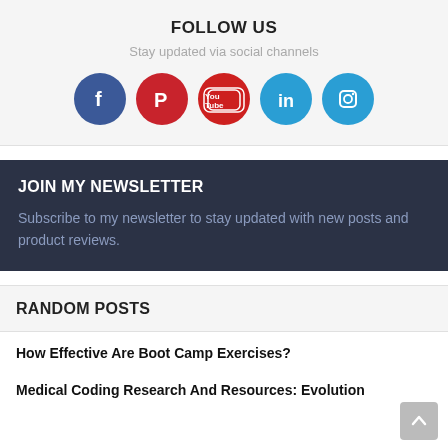FOLLOW US
Stay updated via social channels
[Figure (infographic): Five social media icons in circles: Facebook (dark blue), Pinterest (red), YouTube (red), LinkedIn (light blue), Instagram (light blue)]
JOIN MY NEWSLETTER
Subscribe to my newsletter to stay updated with new posts and product reviews.
RANDOM POSTS
How Effective Are Boot Camp Exercises?
Medical Coding Research And Resources: Evolution